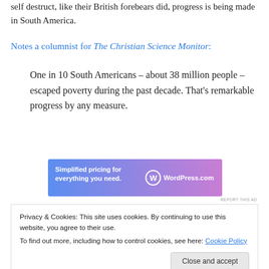self destruct, like their British forebears did, progress is being made in South America.
Notes a columnist for The Christian Science Monitor:
One in 10 South Americans – about 38 million people – escaped poverty during the past decade. That's remarkable progress by any measure.
[Figure (other): WordPress.com advertisement banner with gradient background from blue to purple. Text reads 'Simplified pricing for everything you need.' with WordPress.com logo.]
REPORT THIS AD
Privacy & Cookies: This site uses cookies. By continuing to use this website, you agree to their use. To find out more, including how to control cookies, see here: Cookie Policy
estimated.